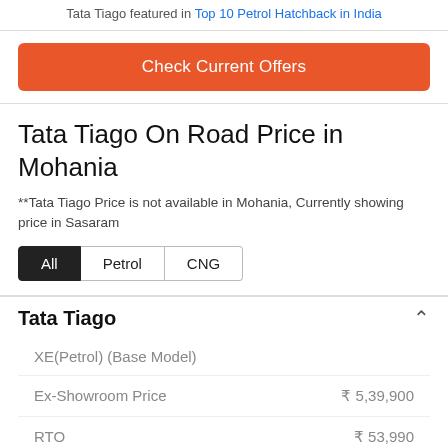Tata Tiago featured in Top 10 Petrol Hatchback in India
Check Current Offers
Tata Tiago On Road Price in Mohania
**Tata Tiago Price is not available in Mohania, Currently showing price in Sasaram
All | Petrol | CNG
Tata Tiago
XE(Petrol) (Base Model)
|  |  |
| --- | --- |
| Ex-Showroom Price | ₹ 5,39,900 |
| RTO | ₹ 53,990 |
| Insurance | ₹ 32,068 |